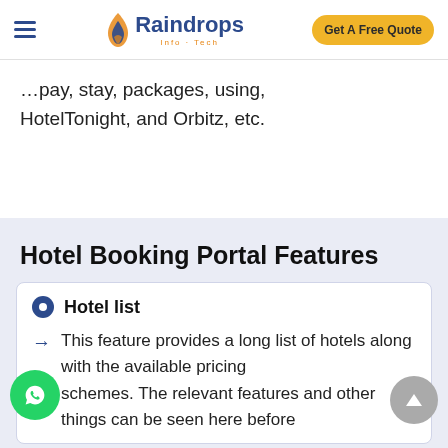Raindrops Info Tech — Get A Free Quote
HotelTonight, and Orbitz, etc.
Hotel Booking Portal Features
Hotel list
This feature provides a long list of hotels along with the available pricing schemes. The relevant features and other things can be seen here before